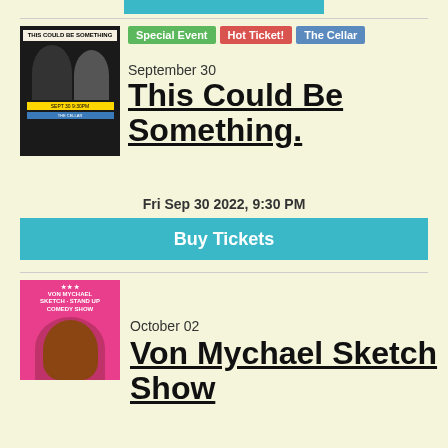[Figure (other): Cyan/teal buy tickets button at top of page (partial)]
[Figure (photo): Black and white photo of two comedians for 'This Could Be Something' event poster]
Special Event   Hot Ticket!   The Cellar
September 30
This Could Be Something.
Fri Sep 30 2022, 9:30 PM
Buy Tickets
[Figure (photo): Pink promotional photo of Von Mychael for comedy sketch show]
October 02
Von Mychael Sketch Show